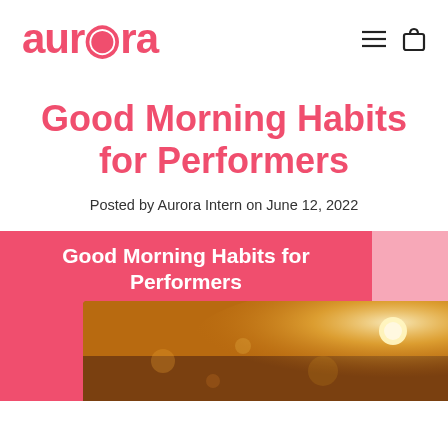aurora
Good Morning Habits for Performers
Posted by Aurora Intern on June 12, 2022
[Figure (illustration): Blog feature card with pink/coral background showing title 'Good Morning Habits for Performers' in white bold text over a photo of a sunrise with bokeh light effects]